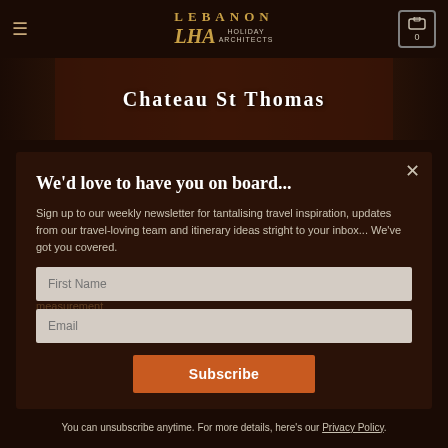Lebanon Holiday Architects
[Figure (photo): Dark image strip showing Chateau St Thomas text overlay]
We'd love to have you on board...
Sign up to our weekly newsletter for tantalising travel inspiration, updates from our travel-loving team and itinerary ideas stright to your inbox... We've got you covered.
First Name
Email
Subscribe
You can unsubscribe anytime. For more details, here's our Privacy Policy.